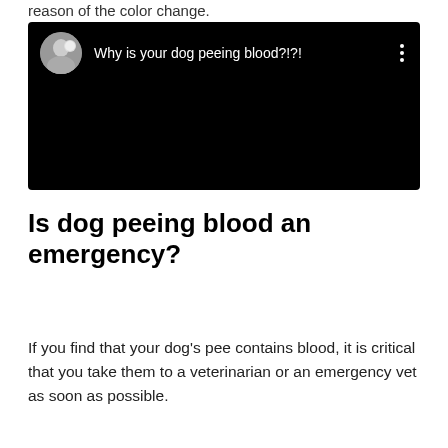reason of the color change.
[Figure (screenshot): Embedded video thumbnail with black background showing title 'Why is your dog peeing blood?!?!' with a circular avatar of a person holding a cat on the left and a three-dot menu icon on the right.]
Is dog peeing blood an emergency?
If you find that your dog's pee contains blood, it is critical that you take them to a veterinarian or an emergency vet as soon as possible.